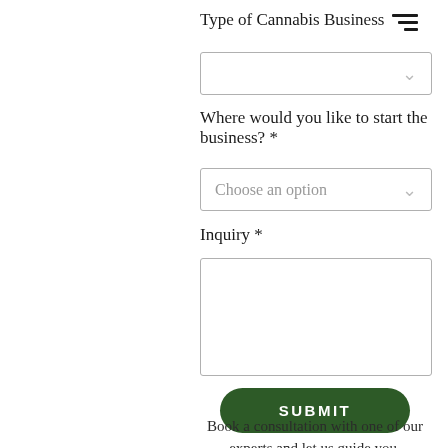Type of Cannabis Business
[Figure (other): Hamburger/filter icon with three horizontal lines]
[Figure (other): Dropdown select box (empty, no placeholder text) with chevron arrow]
Where would you like to start the business? *
[Figure (other): Dropdown select box with placeholder 'Choose an option' and chevron arrow]
Inquiry *
[Figure (other): Large empty textarea input box]
[Figure (other): SUBMIT button, dark green rounded rectangle]
Book a consultation with one of our experts and let us guide you.
[Figure (other): Partially visible dark green rounded button at bottom (Book Now)]